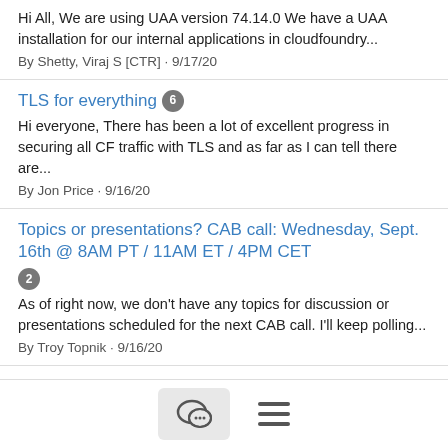Hi All, We are using UAA version 74.14.0 We have a UAA installation for our internal applications in cloudfoundry...
By Shetty, Viraj S [CTR] · 9/17/20
TLS for everything [6]
Hi everyone, There has been a lot of excellent progress in securing all CF traffic with TLS and as far as I can tell there are...
By Jon Price · 9/16/20
Topics or presentations? CAB call: Wednesday, Sept. 16th @ 8AM PT / 11AM ET / 4PM CET [2]
As of right now, we don't have any topics for discussion or presentations scheduled for the next CAB call. I'll keep polling...
By Troy Topnik · 9/16/20
CF K8s Networking office hours this week on Wednesday [attachment]
Hello CF friends, Members of the CF K8s Networking team will be on zoom this Wednesday from 10-10:30am PDT hosting...
[Figure (other): Bottom navigation bar with chat bubble icon button and hamburger menu icon]